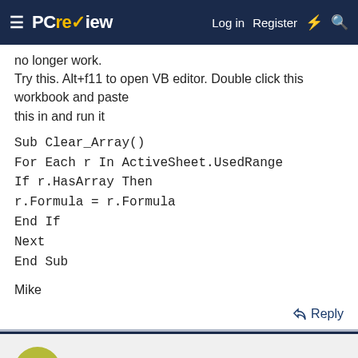PCreview — Log in  Register
no longer work.
Try this. Alt+f11 to open VB editor. Double click this workbook and paste
this in and run it
Sub Clear_Array()
For Each r In ActiveSheet.UsedRange
If r.HasArray Then
r.Formula = r.Formula
End If
Next
End Sub
Mike
Reply
Mike H